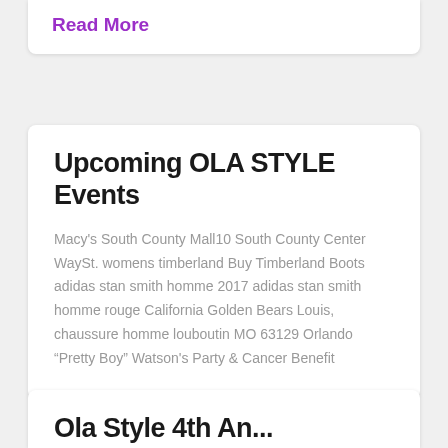Read More
Upcoming OLA STYLE Events
Macy's South County Mall10 South County Center WaySt. womens timberland Buy Timberland Boots adidas stan smith homme 2017 adidas stan smith homme rouge California Golden Bears Louis, chaussure homme louboutin MO 63129 Orlando “Pretty Boy” Watson's Party & Cancer Benefit
Ola Style 4th An...